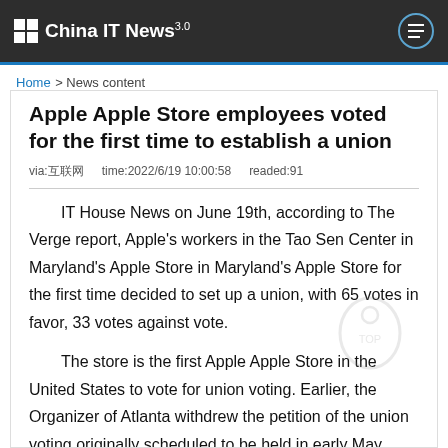China IT News 3.0
Home > News content
Apple Apple Store employees voted for the first time to establish a union
via:互联网   time:2022/6/19 10:00:58   readed:91
IT House News on June 19th, according to The Verge report, Apple's workers in the Tao Sen Center in Maryland's Apple Store in Maryland's Apple Store for the first time decided to set up a union, with 65 votes in favor, 33 votes against vote.
The store is the first Apple Apple Store in the United States to vote for union voting. Earlier, the Organizer of Atlanta withdrew the petition of the union voting originally scheduled to be held in early May.